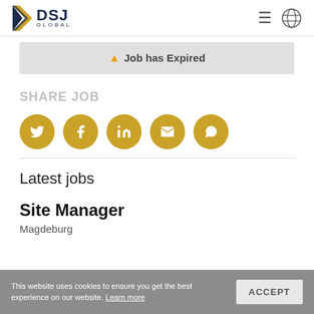DSJ GLOBAL
⚠ Job has Expired
SHARE JOB
[Figure (infographic): Five golden circular social share buttons: Twitter, Facebook, LinkedIn, Email, WhatsApp]
Latest jobs
Site Manager
Magdeburg
This website uses cookies to ensure you get the best experience on our website. Learn more